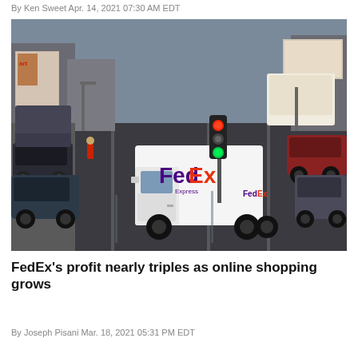By Ken Sweet Apr. 14, 2021 07:30 AM EDT
[Figure (photo): Aerial view of a FedEx Express delivery truck navigating a city street intersection in winter, with cars lined up at a red traffic light and wet pavement visible.]
FedEx's profit nearly triples as online shopping grows
By Joseph Pisani Mar. 18, 2021 05:31 PM EDT